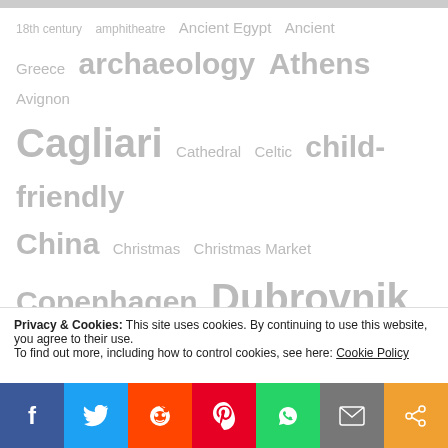[Figure (other): Tag cloud with travel/culture keywords in varying sizes and grey tones: 18th century, amphitheatre, Ancient Egypt, Ancient Greece, archaeology, Athens, Avignon, Cagliari, Cathedral, Celtic, child-friendly, China, Christmas, Christmas Market, Copenhagen, Dubrovnik, Egypt, Ethnography, Etruscan, Fayum, fresco, Geneva, Glasgow, gold, Greek, Grenoble, Japan, Lausanne, Lisbon, Medieval, Montpellier, Narbonne, National Archaeological Museum, Palais De Rumine, Pieta, Rembrandt, Roman]
Privacy & Cookies: This site uses cookies. By continuing to use this website, you agree to their use.
To find out more, including how to control cookies, see here: Cookie Policy